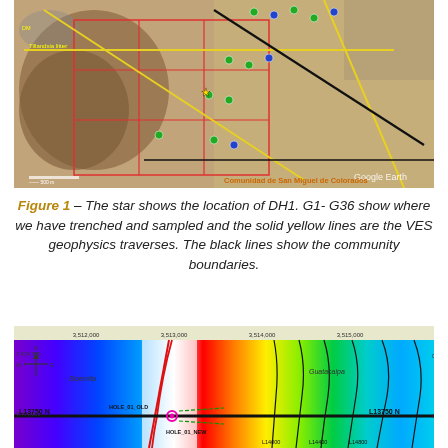[Figure (map): Satellite/aerial Google Earth image showing a survey area with red grid lines, yellow lines indicating VES geophysics traverses, green and blue markers labeled G1-G36 for trench/sample locations, a star for DH1 drill hole location, black lines showing community boundaries, and text 'Comunidad de San Miguel de Colorados' in orange at bottom right. Compass rose and scale bar visible.]
Figure 1 – The star shows the location of DH1. G1- G36 show where we have trenched and sampled and the solid yellow lines are the VES geophysics traverses. The black lines show the community boundaries.
[Figure (map): Geophysical contour map showing colored resistivity or geophysical survey results. Features a compass rose (N/W/E), coordinate grid labels (3,512,000; 3,513,000; 3,514,000; 3,515,000 across top; 7,474,000 and 7,474,500 on sides), colored zones transitioning from purple/blue on left through rainbow colors to cyan/green on right with black contour lines. A bold black horizontal line labeled 'L13750 N' runs across mid-lower section. Red diagonal line crosses left portion. Pink/magenta dot marks drill hole position. Labels 'HOLE_01_OLD', 'L13750 N', 'HOLE_01_NEW', 'L14000', 'L14400', 'L14600', 'L13750 N' visible. 'Bioemita' and 'Guatacalpa' text labels on map.]